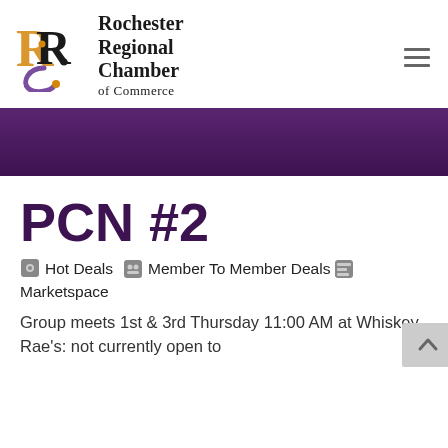[Figure (logo): Rochester Regional Chamber of Commerce logo with stylized RRC letters in orange/gold and purple, with full organization name to the right]
[Figure (other): Purple decorative banner band across the full width]
PCN #2
🏷 Hot Deals  👥 Member To Member Deals  🛒 Marketspace
Group meets 1st & 3rd Thursday 11:00 AM at Whiskey Rae's: not currently open to